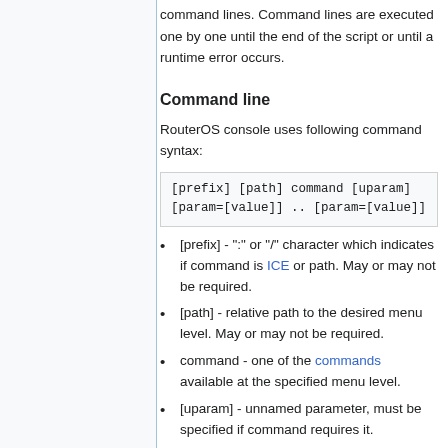command lines. Command lines are executed one by one until the end of the script or until a runtime error occurs.
Command line
RouterOS console uses following command syntax:
[prefix] - ":" or "/" character which indicates if command is ICE or path. May or may not be required.
[path] - relative path to the desired menu level. May or may not be required.
command - one of the commands available at the specified menu level.
[uparam] - unnamed parameter, must be specified if command requires it.
[params] - sequence of named parameters followed by respective